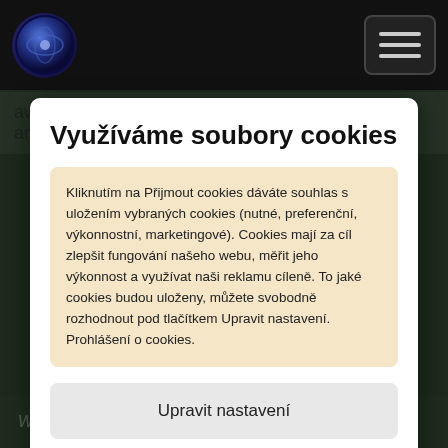awesome. My song, “Closest I Get” is what won it, and that
Využíváme soubory cookies
Kliknutím na Přijmout cookies dáváte souhlas s uložením vybraných cookies (nutné, preferenční, výkonnostní, marketingové). Cookies mají za cíl zlepšit fungování našeho webu, měřit jeho výkonnost a využívat naši reklamu cíleně. To jaké cookies budou uloženy, můžete svobodně rozhodnout pod tlačítkem Upravit nastavení. Prohlášení o cookies.
Upravit nastavení
Přijmout cookies
Would you notice the silence had lasted so long